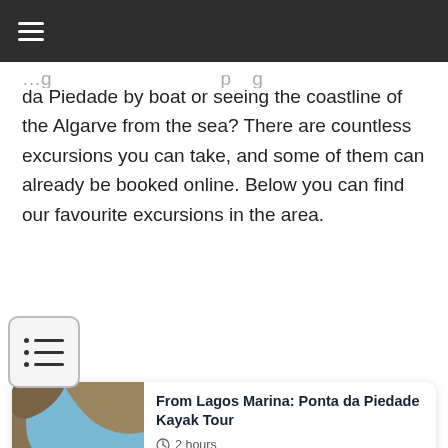da Piedade by boat or seeing the coastline of the Algarve from the sea? There are countless excursions you can take, and some of them can already be booked online. Below you can find our favourite excursions in the area.
[Figure (other): Table of contents icon button with three rows of bullet-list lines]
[Figure (photo): Photo of kayakers in cave/rock formation, Ponta da Piedade Lagos]
From Lagos Marina: Ponta da Piedade Kayak Tour
2 hours
★★★★½
290 Reviews
Lagos: Boat Cruise to Ponta da Piedade